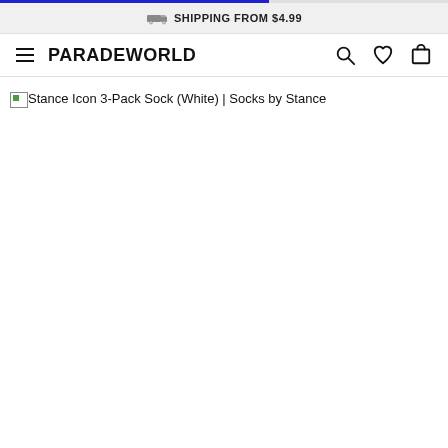SHIPPING FROM $4.99
PARADEWORLD
Stance Icon 3-Pack Sock (White) | Socks by Stance